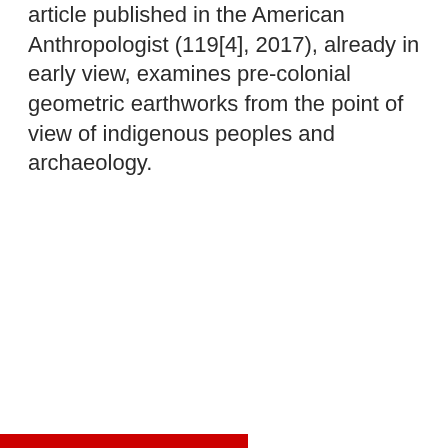article published in the American Anthropologist (119[4], 2017), already in early view, examines pre-colonial geometric earthworks from the point of view of indigenous peoples and archaeology.
[Figure (other): Red horizontal bar/stripe at the bottom of the page, partially visible]